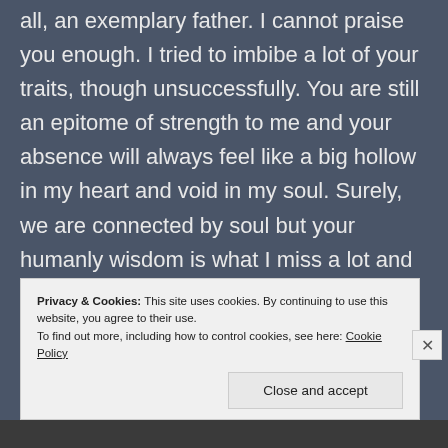all, an exemplary father. I cannot praise you enough. I tried to imbibe a lot of your traits, though unsuccessfully. You are still an epitome of strength to me and your absence will always feel like a big hollow in my heart and void in my soul. Surely, we are connected by soul but your humanly wisdom is what I miss a lot and most of all, your quite presence that always encouraged me to do better n better every single time I looked at you. You were my inspiration. Despite having so many hardships in life, you always had a smile on
Privacy & Cookies: This site uses cookies. By continuing to use this website, you agree to their use.
To find out more, including how to control cookies, see here: Cookie Policy
Close and accept